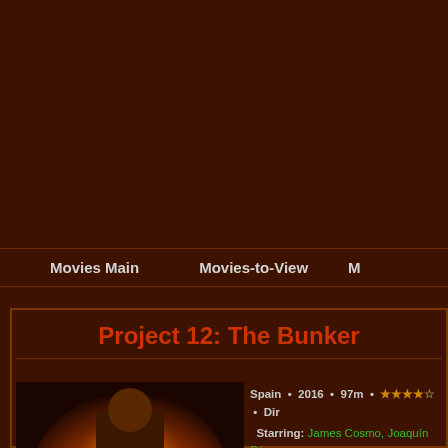Movies Main   Movies-to-View   M
Project 12: The Bunker
[Figure (photo): Movie poster for Project 12: The Bunker showing a muscular man with a device on his back surrounded by fire and explosions]
Spain • 2016 • 97m • ★★★★☆ • Dir Starring: James Cosmo, Joaquín Sánc Roberts, Timothy Gibbs, Tony Corvillo, José Luis de Madariaga, Andrés Barren Carcedo, Johan Vélez Carpintero, Giselle C Music by: Ivan Palomares.
... Four mercenaries are hire